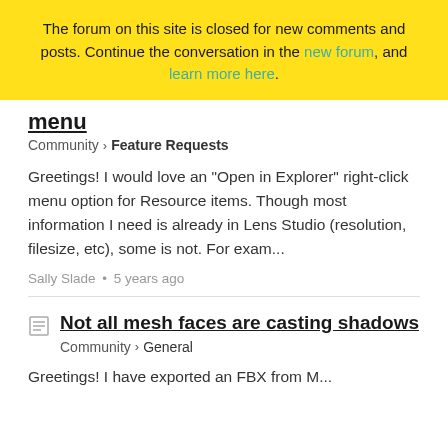The forum on this site is closed for new comments and posts. Continue the conversation in the new forum, and learn more here.
menu
Community > Feature Requests
Greetings! I would love an "Open in Explorer" right-click menu option for Resource items. Though most information I need is already in Lens Studio (resolution, filesize, etc), some is not. For exam...
Sally Slade • 5 years ago
Not all mesh faces are casting shadows
Community > General
Greetings! I have exported an FBX from M...